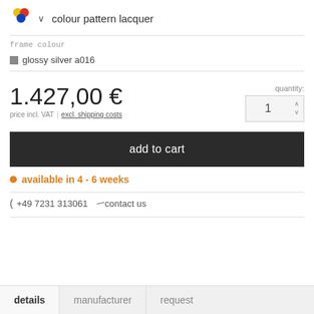colour pattern lacquer
frame colour
glossy silver a016
1.427,00 €
price incl. VAT | excl. shipping costs
quantity: 1
add to cart
available in 4 - 6 weeks
+49 7231 313061   contact us
details  manufacturer  request